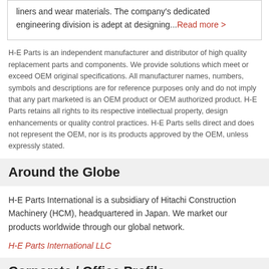liners and wear materials. The company's dedicated engineering division is adept at designing...Read more >
H-E Parts is an independent manufacturer and distributor of high quality replacement parts and components. We provide solutions which meet or exceed OEM original specifications. All manufacturer names, numbers, symbols and descriptions are for reference purposes only and do not imply that any part marketed is an OEM product or OEM authorized product. H-E Parts retains all rights to its respective intellectual property, design enhancements or quality control practices. H-E Parts sells direct and does not represent the OEM, nor is its products approved by the OEM, unless expressly stated.
Around the Globe
H-E Parts International is a subsidiary of Hitachi Construction Machinery (HCM), headquartered in Japan. We market our products worldwide through our global network.
H-E Parts International LLC
Corporate / Office Profile